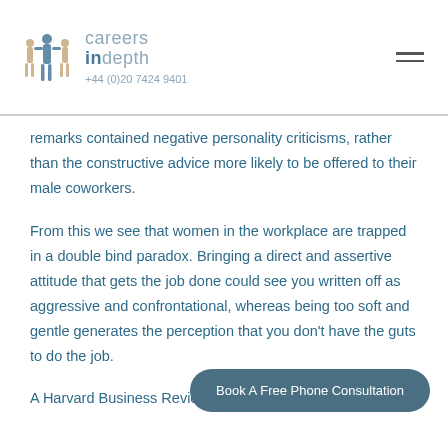careers indepth +44 (0)20 7424 9401
remarks contained negative personality criticisms, rather than the constructive advice more likely to be offered to their male coworkers.
From this we see that women in the workplace are trapped in a double bind paradox. Bringing a direct and assertive attitude that gets the job done could see you written off as aggressive and confrontational, whereas being too soft and gentle generates the perception that you don't have the guts to do the job.
A Harvard Business Review paper entitled 'Women and
[Figure (other): Book A Free Phone Consultation CTA button (rounded dark teal/slate button)]